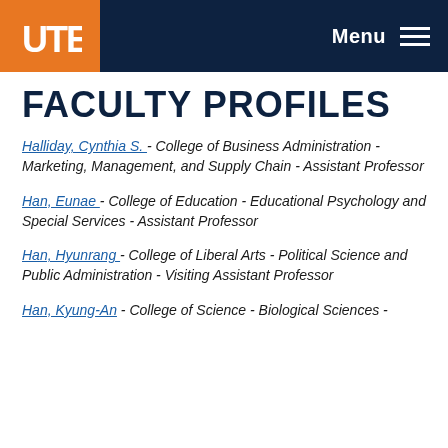UTEP — Menu
FACULTY PROFILES
Halliday, Cynthia S. - College of Business Administration - Marketing, Management, and Supply Chain - Assistant Professor
Han, Eunae - College of Education - Educational Psychology and Special Services - Assistant Professor
Han, Hyunrang - College of Liberal Arts - Political Science and Public Administration - Visiting Assistant Professor
Han, Kyung-An - College of Science - Biological Sciences -